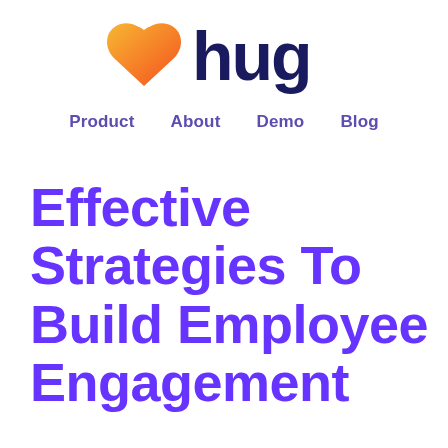[Figure (logo): Hug brand logo: orange/yellow heart icon on the left and dark navy 'hug' wordmark text on the right]
Product   About   Demo   Blog
Effective Strategies To Build Employee Engagement